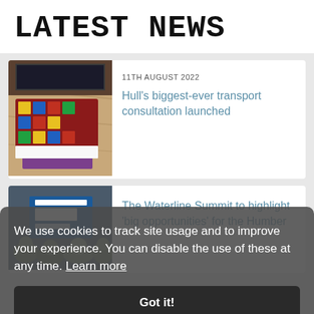LATEST NEWS
11TH AUGUST 2022
[Figure (photo): A colorful transport consultation booklet/leaflet lying on a wooden table surface, with purple and yellow folders in background]
Hull's biggest-ever transport consultation launched
[Figure (photo): A crowd of people at The Waterline Summit about the Future of Energy, partially visible behind cookie consent overlay]
The Waterline Summit to highlight 'big opportunities' for the Humber
We use cookies to track site usage and to improve your experience. You can disable the use of these at any time. Learn more
Got it!